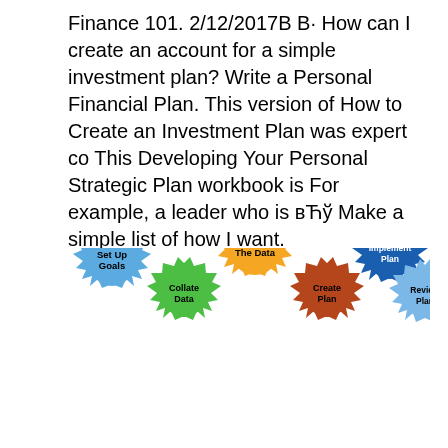Finance 101. 2/12/2017B В· How can I create an account for a simple investment plan? Write a Personal Financial Plan. This version of How to Create an Investment Plan was expert co This Developing Your Personal Strategic Plan workbook is For example, a leader who is вЋў Make a simple list of how I want.
[Figure (infographic): A series of interlocking gear icons in different colors representing steps in a financial planning process: Set Up Goals (blue), Collate Data (green), Analyse The Data (orange), Create Plan (red/brown), Implement Plan (dark blue), Review Plan (light blue)]